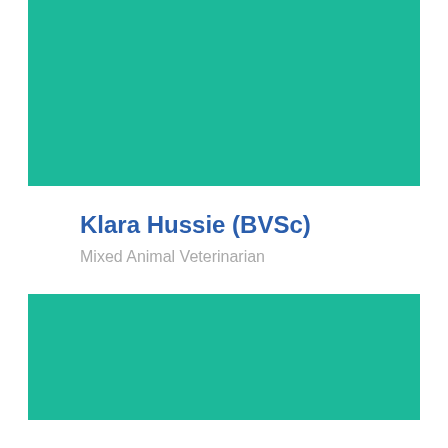[Figure (illustration): Teal/green colored rectangular block forming the top section of a profile card]
Klara Hussie (BVSc)
Mixed Animal Veterinarian
[Figure (illustration): Teal/green colored rectangular block forming the bottom section of a profile card]